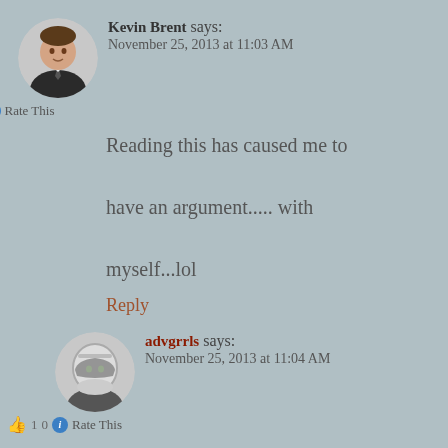Kevin Brent says:
November 25, 2013 at 11:03 AM
👍 0 ℹ Rate This
Reading this has caused me to have an argument..... with myself...lol
Reply
advgrrls says:
November 25, 2013 at 11:04 AM
👍 1 0 ℹ Rate This
That is funny
Reply